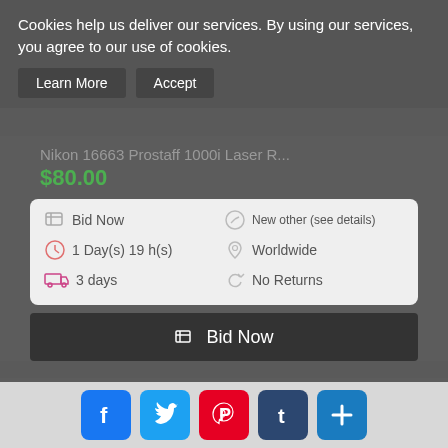Cookies help us deliver our services. By using our services, you agree to our use of cookies.
Learn More | Accept
Nikon 16663 Prostaff 1000i Laser R...
$80.00
Bid Now | New other (see details) | 1 Day(s) 19 h(s) | Worldwide | 3 days | No Returns
Bid Now
[Figure (photo): Partial product thumbnail image]
[Figure (infographic): Social share bar with Facebook, Twitter, Pinterest, Tumblr, and Add buttons]